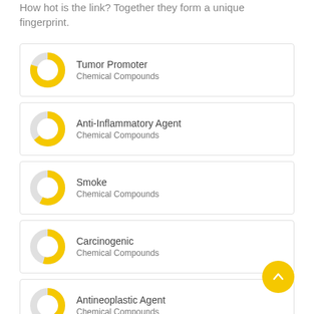How hot is the link? Together they form a unique fingerprint.
Tumor Promoter — Chemical Compounds
Anti-Inflammatory Agent — Chemical Compounds
Smoke — Chemical Compounds
Carcinogenic — Chemical Compounds
Antineoplastic Agent — Chemical Compounds
Protective — Chemical Compounds